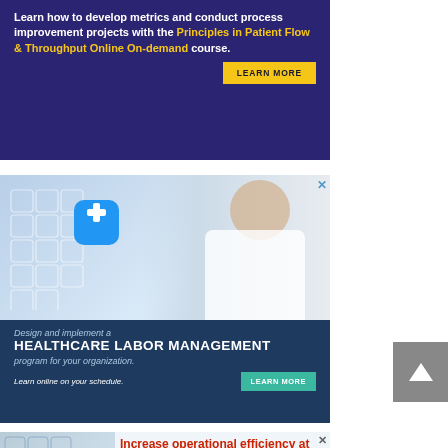[Figure (infographic): Dark blue banner ad: 'Learn how to develop metrics and conduct process improvement projects with the Principles in Patient Flow & Throughput Online On-demand course.' with a yellow LEARN MORE button]
[Figure (infographic): Healthcare ad showing a doctor touching a blue medical cross icon with hexagonal health icons. Bottom panel reads 'Design and implement a HEALTHCARE LABOR MANAGEMENT program for your organization. Learn online on your schedule.' with a LEARN MORE button]
[Figure (infographic): Ad with medical hexagonal background image and red text: 'Increase operational efficiency at your organization']